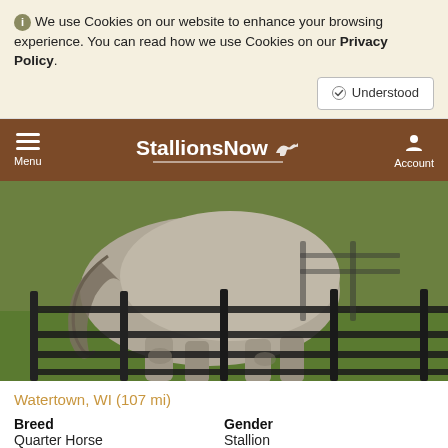We use Cookies on our website to enhance your browsing experience. You can read how we use Cookies on our Privacy Policy.
Understood
StallionsNow — Menu | Account
[Figure (photo): A horse (back view, grey/dun coloring) standing near black metal fence rails in a green grass paddock.]
Watertown, WI (107 mi)
Breed
Quarter Horse
Gender
Stallion
Color
Height (hh)